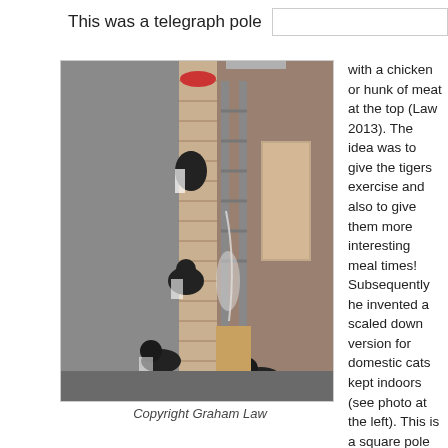This was a telegraph pole
[Figure (photo): Photo of cats climbing a tall square pole with sisal rope wrapped around it, inside a building. Multiple black and white cats at various heights on the pole. Copyright Graham Law.]
Copyright Graham Law
with a chicken or hunk of meat at the top (Law 2013). The idea was to give the tigers exercise and also to give them more interesting meal times! Subsequently he invented a scaled down version for domestic cats kept indoors (see photo at the left). This is a square pole with an old washing line (sisal not plastic) wrapped round it